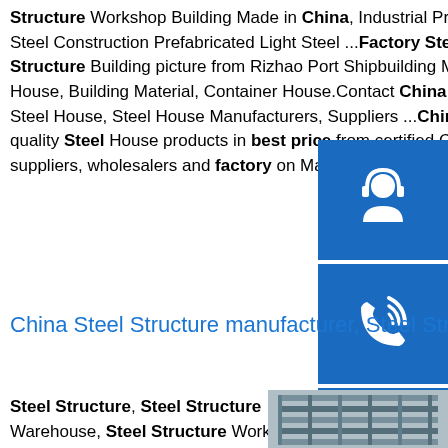Structure Workshop Building Made in China, Industrial Prefabricated Steel Structure …sp.info China Factory Steel Construction Prefabricated Light Steel ...Factory Steel Construction Prefabricated Light Steel Frame Structure Building picture from Rizhao Port Shipbuilding Machinery Industry Co., Ltd. view photo of Chicken House, Building Material, Container House.Contact China Suppliers for More Products and Price.sp.info China Steel House, Steel House Manufacturers, Suppliers ...China Steel House manufacturers - Select 2019 high quality Steel House products in best price from certified China Steel Structure manufacturers, China House suppliers, wholesalers and factory on Made-in-China.com
[Figure (illustration): Blue sidebar with three icon buttons: headset/support icon, phone/call icon, Skype icon]
China Steel Structure manufacturer, Steel Structure ...
Steel Structure, Steel Structure Warehouse, Steel Structure Workshop
[Figure (photo): Photo of steel H-beam structural members]